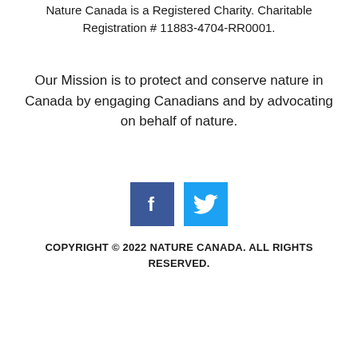Nature Canada is a Registered Charity. Charitable Registration # 11883-4704-RR0001.
Our Mission is to protect and conserve nature in Canada by engaging Canadians and by advocating on behalf of nature.
[Figure (logo): Social media icons: Facebook (blue square with white 'f') and Twitter (light blue square with white bird logo)]
COPYRIGHT © 2022 NATURE CANADA. ALL RIGHTS RESERVED.